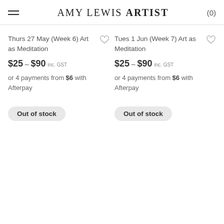AMY LEWIS ARTIST (0)
Thurs 27 May (Week 6) Art as Meditation
$25 – $90 inc. GST
or 4 payments from $6 with Afterpay
Out of stock
Tues 1 Jun (Week 7) Art as Meditation
$25 – $90 inc. GST
or 4 payments from $6 with Afterpay
Out of stock